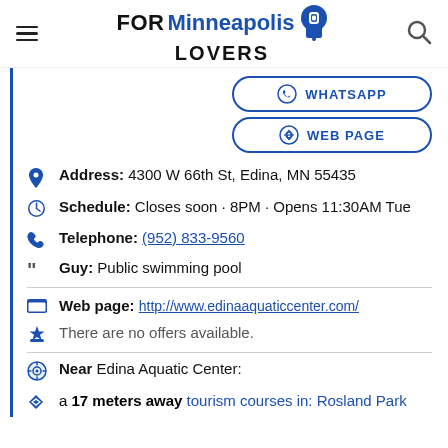FOR Minneapolis LOVERS
WHATSAPP
WEB PAGE
Address: 4300 W 66th St, Edina, MN 55435
Schedule: Closes soon · 8PM · Opens 11:30AM Tue
Telephone: (952) 833-9560
Guy: Public swimming pool
Web page: http://www.edinaaquaticcenter.com/
There are no offers available.
Near Edina Aquatic Center:
a 17 meters away tourism courses in: Rosland Park